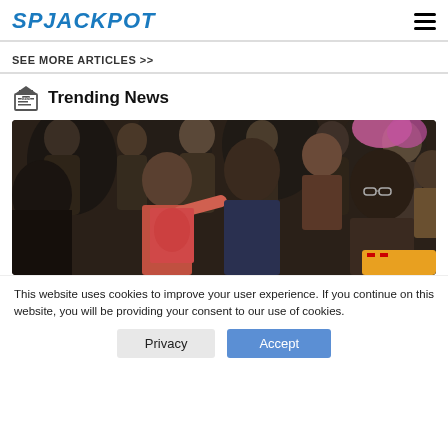SPJACKPOT
SEE MORE ARTICLES >>
Trending News
[Figure (photo): Crowd of sports fans at a stadium, one man in the foreground pointing, others reacting around him]
This website uses cookies to improve your user experience. If you continue on this website, you will be providing your consent to our use of cookies.
Privacy | Accept